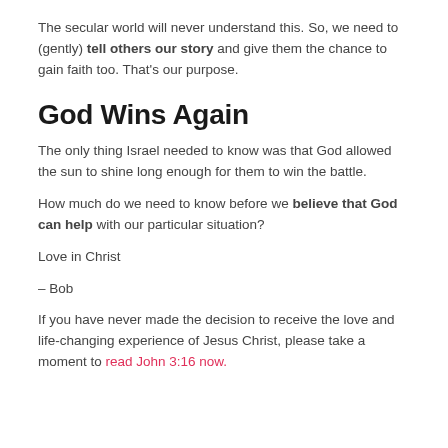The secular world will never understand this. So, we need to (gently) tell others our story and give them the chance to gain faith too. That's our purpose.
God Wins Again
The only thing Israel needed to know was that God allowed the sun to shine long enough for them to win the battle.
How much do we need to know before we believe that God can help with our particular situation?
Love in Christ
– Bob
If you have never made the decision to receive the love and life-changing experience of Jesus Christ, please take a moment to read John 3:16 now.